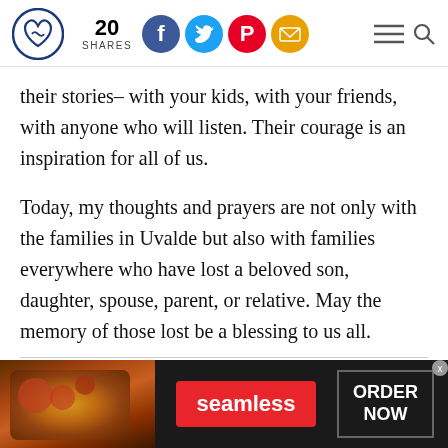20 SHARES [social share icons: Facebook, Twitter, Pinterest, Email] [hamburger menu] [search]
their stories– with your kids, with your friends, with anyone who will listen. Their courage is an inspiration for all of us.
Today, my thoughts and prayers are not only with the families in Uvalde but also with families everywhere who have lost a beloved son, daughter, spouse, parent, or relative. May the memory of those lost be a blessing to us all.
[Figure (other): Advertisement banner for Seamless food delivery service showing pizza image on the left, 'seamless' red button in the center, and 'ORDER NOW' button on the right with a close X button in the top right corner.]